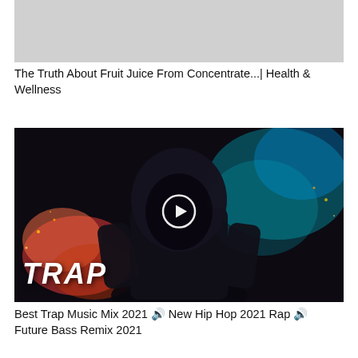[Figure (screenshot): Grey placeholder thumbnail image for a health and wellness video]
The Truth About Fruit Juice From Concentrate...| Health & Wellness
[Figure (screenshot): Thumbnail for trap music mix video showing hooded figure with red and blue smoke, 'TRAP' text, and a play button overlay]
Best Trap Music Mix 2021 🔊 New Hip Hop 2021 Rap 🔊 Future Bass Remix 2021